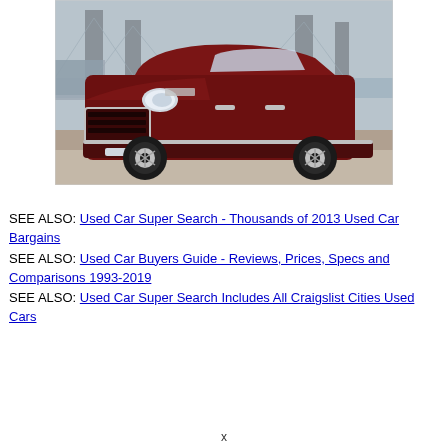[Figure (photo): A dark red/maroon Jeep Grand Cherokee SUV parked in front of a large bridge (appears to be the Bay Bridge) on a grey overcast day. The vehicle faces slightly right, showing its front grille and headlights prominently.]
SEE ALSO: Used Car Super Search - Thousands of 2013 Used Car Bargains
SEE ALSO: Used Car Buyers Guide - Reviews, Prices, Specs and Comparisons 1993-2019
SEE ALSO: Used Car Super Search Includes All Craigslist Cities Used Cars
x